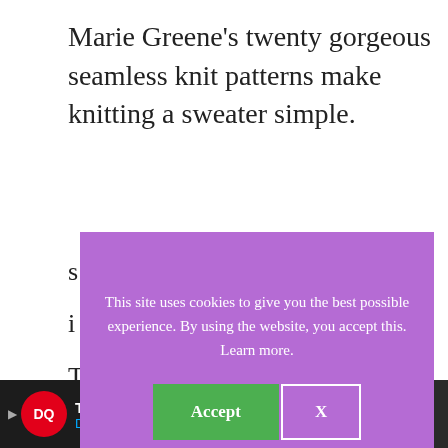Marie Greene's twenty gorgeous seamless knit patterns make knitting a sweater simple.
S... i... T... W...
[Figure (screenshot): Cookie consent overlay with purple background. Text: 'This site uses cookies to give you the best possible experience. By using the website, you accept this. Learn more.' Two buttons: green 'Accept' and outlined 'X'.]
[Figure (screenshot): Cookie Dough ad banner: green section with 'COOKIE DOUGH' text, middle white section with 'Childhood cancer didn't stop for COVID-19.', orange section with 'cookies for kids cancer GET BAKING' and an X close button.]
[Figure (screenshot): Dark bottom ad bar for Dairy Queen: 'Try Reese's Take 5 Blizzard® Dairy Queen (Treat)' with DQ logo, Reese's logo, and navigation arrow icon. Right side shows speaker/sound icon.]